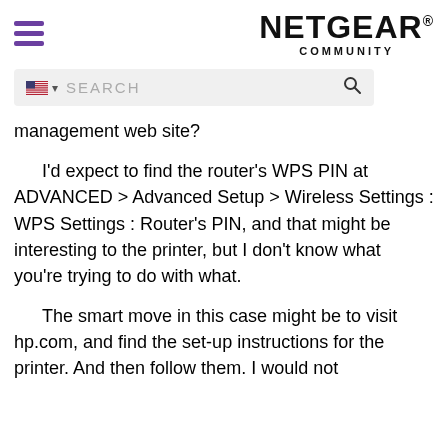NETGEAR COMMUNITY
[Figure (screenshot): Search bar with US flag and search icon on grey background]
management web site?
I'd expect to find the router's WPS PIN at ADVANCED > Advanced Setup > Wireless Settings : WPS Settings : Router's PIN, and that might be interesting to the printer, but I don't know what you're trying to do with what.
The smart move in this case might be to visit hp.com, and find the set-up instructions for the printer.  And then follow them.  I would not...